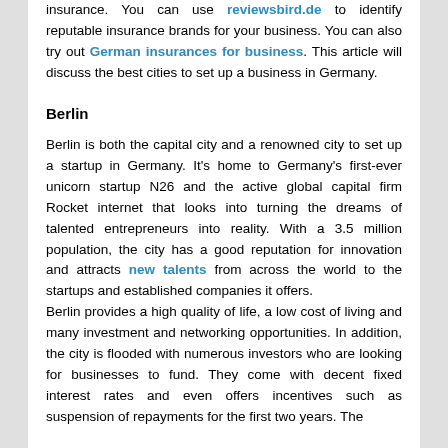insurance. You can use reviewsbird.de to identify reputable insurance brands for your business. You can also try out German insurances for business. This article will discuss the best cities to set up a business in Germany.
Berlin
Berlin is both the capital city and a renowned city to set up a startup in Germany. It's home to Germany's first-ever unicorn startup N26 and the active global capital firm Rocket internet that looks into turning the dreams of talented entrepreneurs into reality. With a 3.5 million population, the city has a good reputation for innovation and attracts new talents from across the world to the startups and established companies it offers.
Berlin provides a high quality of life, a low cost of living and many investment and networking opportunities. In addition, the city is flooded with numerous investors who are looking for businesses to fund. They come with decent fixed interest rates and even offers incentives such as suspension of repayments for the first two years. The